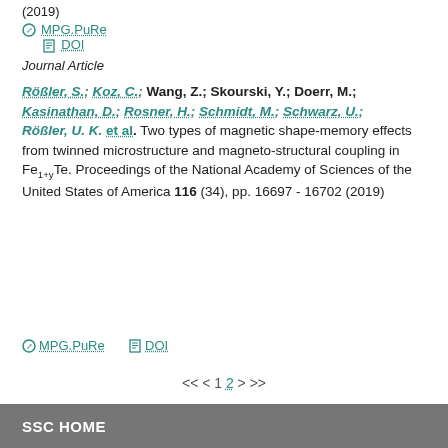(2019)
MPG.PuRe   DOI
Journal Article
Rößler, S.; Koz, C.; Wang, Z.; Skourski, Y.; Doerr, M.; Kasinathan, D.; Rosner, H.; Schmidt, M.; Schwarz, U.; Rößler, U. K. et al.: Two types of magnetic shape-memory effects from twinned microstructure and magneto-structural coupling in Fe1+yTe. Proceedings of the National Academy of Sciences of the United States of America 116 (34), pp. 16697 - 16702 (2019)
MPG.PuRe   DOI
<< < 1 2 > >>
SSC HOME